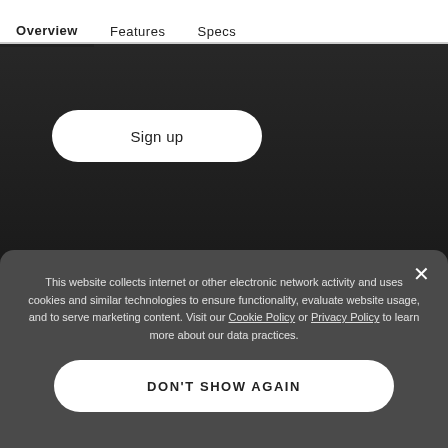Overview   Features   Specs
[Figure (screenshot): Dark blurred background image of a room/corridor behind the content area]
Sign up
*10% discount promo code valid for one-time use on a single item for maximum savings of $100. May be applied to all NETGEAR products, excluding services and ProAV items. May not be combined with other offers. Limit one promo code per customer. You can unsubscribe from our mailing list at any time. Please see our Privacy Policy for more
This website collects internet or other electronic network activity and uses cookies and similar technologies to ensure functionality, evaluate website usage, and to serve marketing content. Visit our Cookie Policy or Privacy Policy to learn more about our data practices.
DON'T SHOW AGAIN